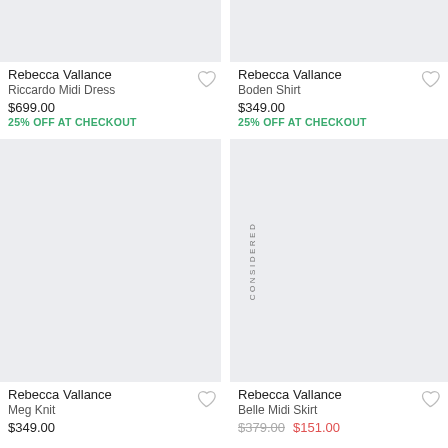[Figure (photo): Product image placeholder (top-left) - Rebecca Vallance Riccardo Midi Dress]
Rebecca Vallance
Riccardo Midi Dress
$699.00
25% OFF AT CHECKOUT
[Figure (photo): Product image placeholder (top-right) - Rebecca Vallance Boden Shirt]
Rebecca Vallance
Boden Shirt
$349.00
25% OFF AT CHECKOUT
[Figure (photo): Product image placeholder (bottom-left) - Rebecca Vallance Meg Knit]
Rebecca Vallance
Meg Knit
$349.00
[Figure (photo): Product image placeholder (bottom-right) - Rebecca Vallance Belle Midi Skirt, with CONSIDERED label]
Rebecca Vallance
Belle Midi Skirt
$379.00 $151.00